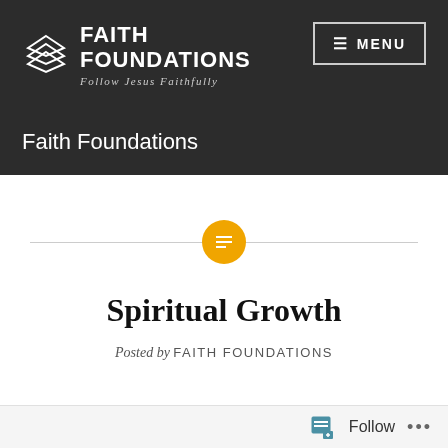[Figure (logo): Faith Foundations logo with stacked layers icon, white text on dark background, subtitle 'Follow Jesus Faithfully']
≡ MENU
Faith Foundations
[Figure (illustration): Gold circular icon with list/text symbol, centered on a horizontal divider line]
Spiritual Growth
Posted by FAITH FOUNDATIONS
Follow ...